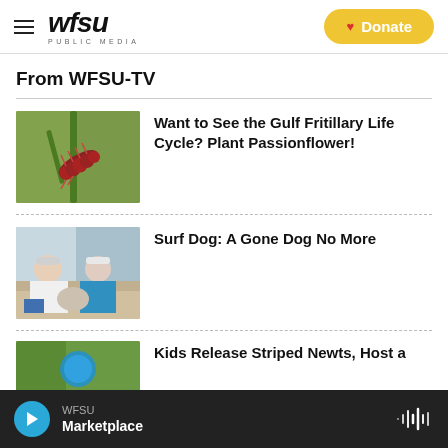WFSU PUBLIC MEDIA — Donate
From WFSU-TV
[Figure (photo): Close-up of a Gulf Fritillary caterpillar on a green plant stem]
Want to See the Gulf Fritillary Life Cycle? Plant Passionflower!
[Figure (photo): Elderly couple sitting on a couch or porch furniture]
Surf Dog: A Gone Dog No More
[Figure (photo): Partial image showing green background with a circular element]
Kids Release Striped Newts, Host a
WFSU Marketplace